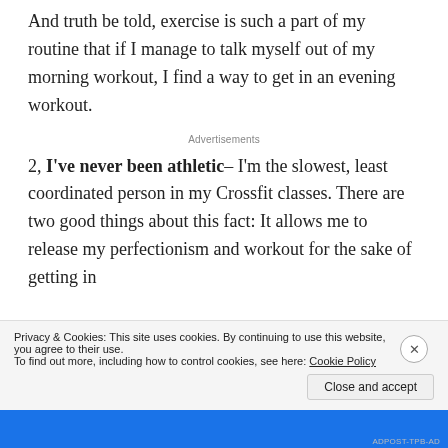And truth be told, exercise is such a part of my routine that if I manage to talk myself out of my morning workout, I find a way to get in an evening workout.
Advertisements
2, I've never been athletic– I'm the slowest, least coordinated person in my Crossfit classes. There are two good things about this fact: It allows me to release my perfectionism and workout for the sake of getting in
Privacy & Cookies: This site uses cookies. By continuing to use this website, you agree to their use.
To find out more, including how to control cookies, see here: Cookie Policy
Close and accept